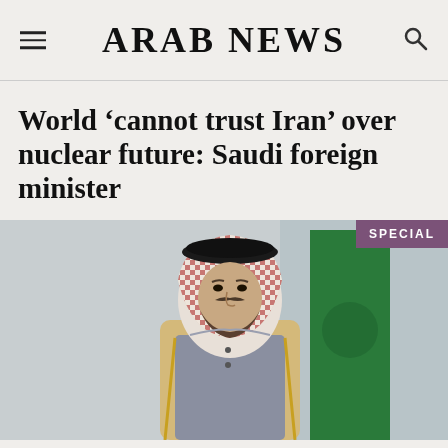ARAB NEWS
World ‘cannot trust Iran’ over nuclear future: Saudi foreign minister
[Figure (photo): Saudi foreign minister in traditional red-and-white checkered keffiyeh and black agal, wearing a gold-trimmed bisht over grey thobe, speaking or seated at a formal setting with a Saudi green flag visible in the background.]